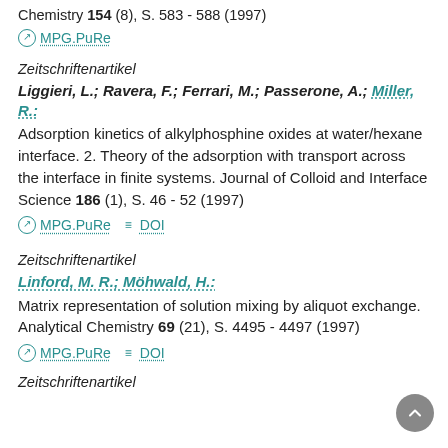Chemistry 154 (8), S. 583 - 588 (1997)
⊘ MPG.PuRe
Zeitschriftenartikel
Liggieri, L.; Ravera, F.; Ferrari, M.; Passerone, A.; Miller, R.: Adsorption kinetics of alkylphosphine oxides at water/hexane interface. 2. Theory of the adsorption with transport across the interface in finite systems. Journal of Colloid and Interface Science 186 (1), S. 46 - 52 (1997)
⊘ MPG.PuRe  ≡ DOI
Zeitschriftenartikel
Linford, M. R.; Möhwald, H.: Matrix representation of solution mixing by aliquot exchange. Analytical Chemistry 69 (21), S. 4495 - 4497 (1997)
⊘ MPG.PuRe  ≡ DOI
Zeitschriftenartikel